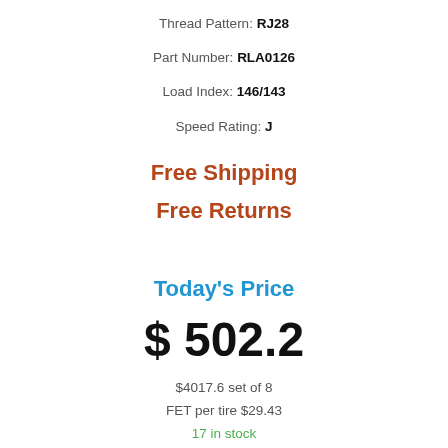Thread Pattern: RJ28
Part Number: RLA0126
Load Index: 146/143
Speed Rating: J
Free Shipping
Free Returns
Today's Price
$ 502.2
$4017.6 set of 8
FET per tire $29.43
17 in stock